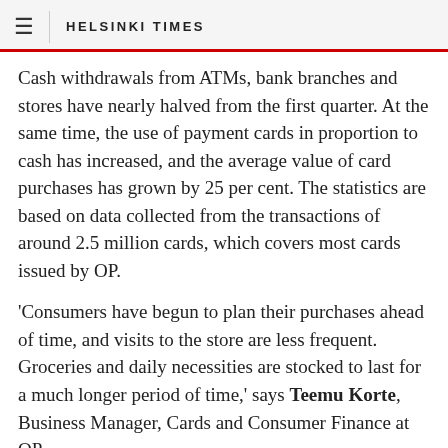≡ HELSINKI TIMES
Cash withdrawals from ATMs, bank branches and stores have nearly halved from the first quarter. At the same time, the use of payment cards in proportion to cash has increased, and the average value of card purchases has grown by 25 per cent. The statistics are based on data collected from the transactions of around 2.5 million cards, which covers most cards issued by OP.
'Consumers have begun to plan their purchases ahead of time, and visits to the store are less frequent. Groceries and daily necessities are stocked to last for a much longer period of time,' says Teemu Korte, Business Manager, Cards and Consumer Finance at OP.
Social distancing is reflected also in e-commerce, where non-travel related card purchases have increased by 30